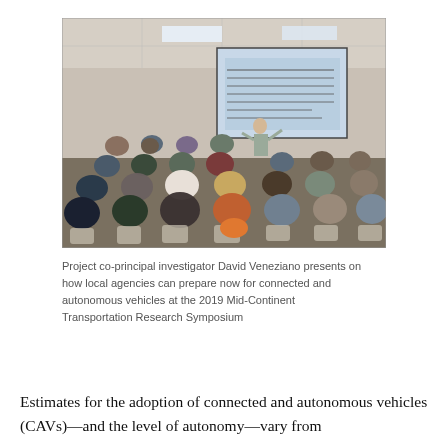[Figure (photo): A conference room filled with seated attendees watching a presenter stand at the front near a large projection screen displaying text. The room has beige walls, drop ceiling with fluorescent lights, and rows of chairs with people from behind.]
Project co-principal investigator David Veneziano presents on how local agencies can prepare now for connected and autonomous vehicles at the 2019 Mid-Continent Transportation Research Symposium
Estimates for the adoption of connected and autonomous vehicles (CAVs)—and the level of autonomy—vary from